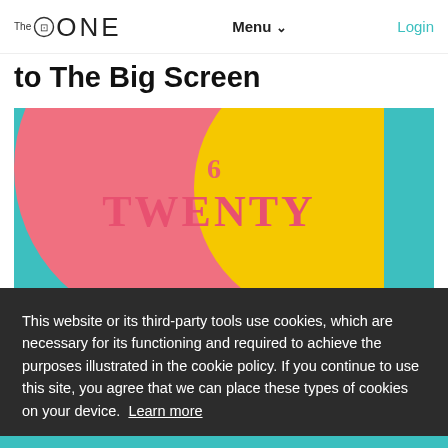The ONE — Menu ∨  Login
to The Big Screen
[Figure (illustration): Colorful movie poster with teal, pink and yellow sections showing the word TWENTY in large serif letters]
This website or its third-party tools use cookies, which are necessary for its functioning and required to achieve the purposes illustrated in the cookie policy. If you continue to use this site, you agree that we can place these types of cookies on your device.  Learn more
Accept
[Figure (photo): Partial photo of people at bottom of page against red background]